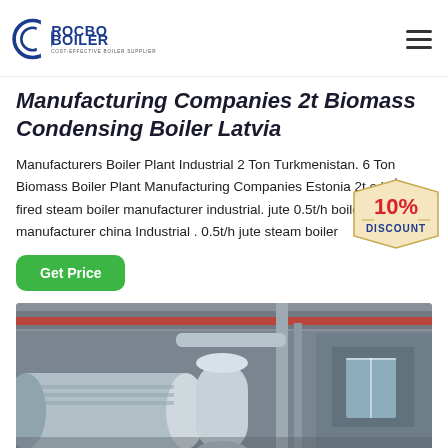ROCBO BOILER - COST-EFFECTIVE BOILER SUPPLIER
Manufacturing Companies 2t Biomass Condensing Boiler Latvia
Manufacturers Boiler Plant Industrial 2 Ton Turkmenistan. 6 Ton Biomass Boiler Plant Manufacturing Companies Estonia 2t o.h oil fired steam boiler manufacturer industrial. jute 0.5t/h boiler manufacturer china Industrial . 0.5t/h jute steam boiler
[Figure (infographic): 10% DISCOUNT badge/tag graphic]
[Figure (photo): Industrial boiler plant interior showing large cylindrical boiler equipment, silver pipes and ducts, red overhead crane, industrial ceiling structure]